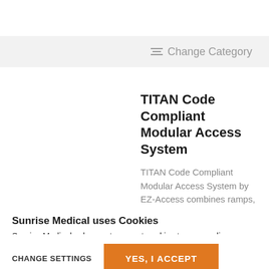≡≡ Change Category
TITAN Code Compliant Modular Access System
TITAN Code Compliant Modular Access System by EZ-Access combines ramps, platforms and steps to create the system right
Sunrise Medical uses Cookies
Sunrise Medical asks you to accept cookies to personalize website content and analyze traffic. We also use third-party social media and advertising cookies to offer you social media functionalities and personalized ads on other sites. Do you accept these cookies and any processing of personal data involved?
CHANGE SETTINGS
YES, I ACCEPT